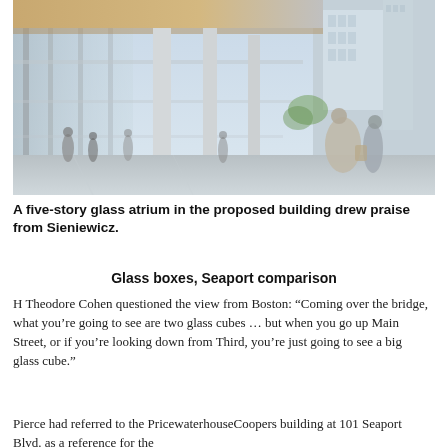[Figure (photo): Interior architectural rendering of a five-story glass atrium in a proposed building, showing people walking through a spacious, modern glass-and-concrete lobby with tall ceilings and an urban streetscape visible outside.]
A five-story glass atrium in the proposed building drew praise from Sieniewicz.
Glass boxes, Seaport comparison
H Theodore Cohen questioned the view from Boston: “Coming over the bridge, what you’re going to see are two glass cubes … but when you go up Main Street, or if you’re looking down from Third, you’re just going to see a big glass cube.”
Pierce had referred to the PricewaterhouseCoopers building at 101 Seaport Blvd. as a reference for the